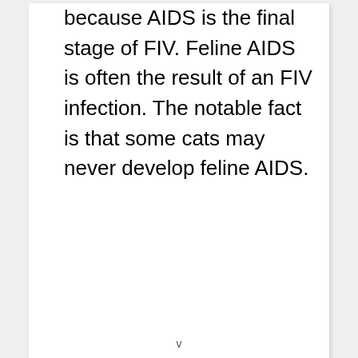because AIDS is the final stage of FIV. Feline AIDS is often the result of an FIV infection. The notable fact is that some cats may never develop feline AIDS.
v